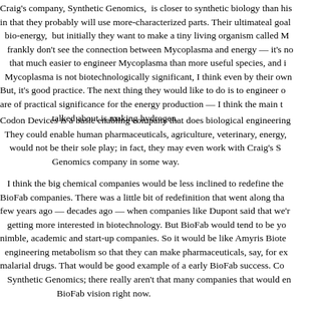Craig's company, Synthetic Genomics, is closer to synthetic biology than his in that they probably will use more-characterized parts. Their ultimateal goal bio-energy, but initially they want to make a tiny living organism called M frankly don't see the connection between Mycoplasma and energy — it's no that much easier to engineer Mycoplasma than more useful species, and i Mycoplasma is not biotechnologically significant, I think even by their ow But, it's good practice. The next thing they would like to do is to engineer o are of practical significance for the energy production — I think the main t talked about is making hydrogen.
Codon Devices is a basic enabling company that does biological engineering They could enable human pharmaceuticals, agriculture, veterinary, energy, would not be their sole play; in fact, they may even work with Craig's S Genomics company in some way.
I think the big chemical companies would be less inclined to redefine the BioFab companies. There was a little bit of redefinition that went along tha few years ago — decades ago — when companies like Dupont said that we'r getting more interested in biotechnology. But BioFab would tend to be yo nimble, academic and start-up companies. So it would be like Amyris Biote engineering metabolism so that they can make pharmaceuticals, say, for ex malarial drugs. That would be good example of a early BioFab success. Co Synthetic Genomics; there really aren't that many companies that would en BioFab vision right now.